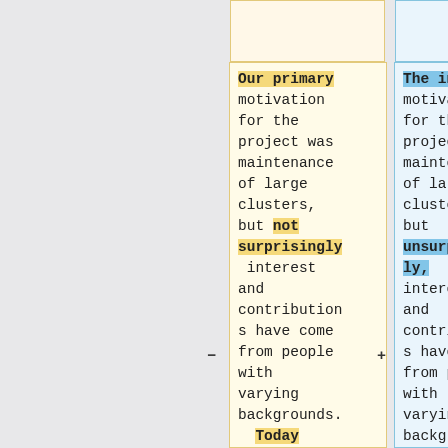[partial top left box - continuation from previous page]
[partial top right box - continuation from previous page]
Our primary motivation for the project was maintenance of large clusters, but not surprisingly interest and contributions have come from people with varying backgrounds. Today LinuxBIOS can be used
The initial motivation for the project was maintenance of large clusters, but unsurprisingly, interest and contributions have come from people with varying backgrounds. The latest version of